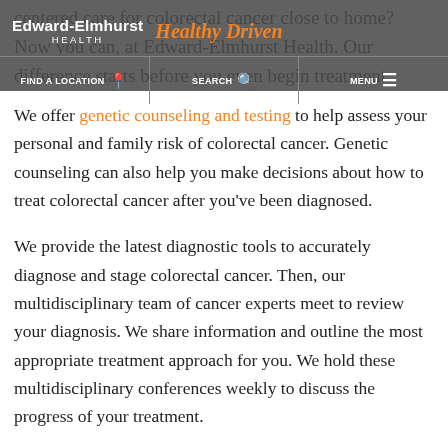centered care for colorectal cancer close to home? Now you can, at Edward-Elmhurst Health. Our difference starts before you even begin treatment.
Edward-Elmhurst Health | Healthy Driven | FIND A LOCATION | SEARCH | MENU
We offer genetic counseling and testing to help assess your personal and family risk of colorectal cancer. Genetic counseling can also help you make decisions about how to treat colorectal cancer after you've been diagnosed.
We provide the latest diagnostic tools to accurately diagnose and stage colorectal cancer. Then, our multidisciplinary team of cancer experts meet to review your diagnosis. We share information and outline the most appropriate treatment approach for you. We hold these multidisciplinary conferences weekly to discuss the progress of your treatment.
Our colorectal cancer experts offer a full range of